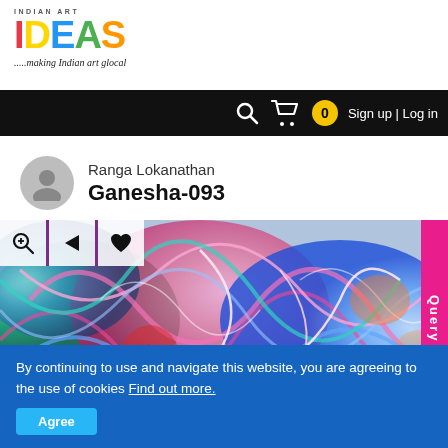INDIAN ART IDEAS - .....making Indian art glocal
Sign up | Log in
Ranga Lokanathan
Ganesha-093
[Figure (illustration): Colorful swirling psychedelic art depicting Ganesha-093 by Ranga Lokanathan, with pink, blue, teal and multicolor swirling patterns. Toolbar overlay shows zoom, share, and heart/favorite buttons.]
By continuing to use and navigate this website, you are agreeing to the use of cookies Find out more.
Agree